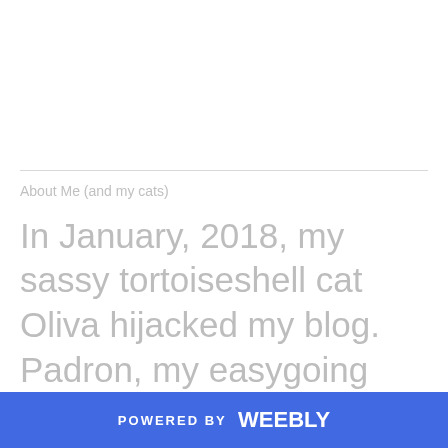About Me (and my cats)
In January, 2018, my sassy tortoiseshell cat Oliva hijacked my blog. Padron, my easygoing tabby cat, soon followed her example. I did
POWERED BY weebly